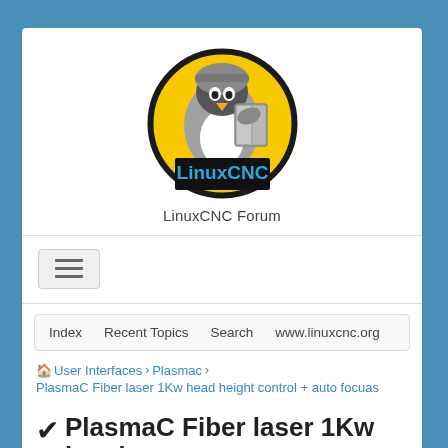[Figure (logo): LinuxCNC logo: Tux penguin in armor holding a book on a yellow circle with black border, black banner below with 'LinuxCNC' in blue text]
LinuxCNC Forum
[Figure (other): Hamburger menu button (three horizontal lines)]
Index   Recent Topics   Search   www.linuxcnc.org
🏠 User Interfaces > Plasmac > PlasmaC Fiber laser 1Kw head height control + auto focuas
PlasmaC Fiber laser 1Kw head height control + auto focuas